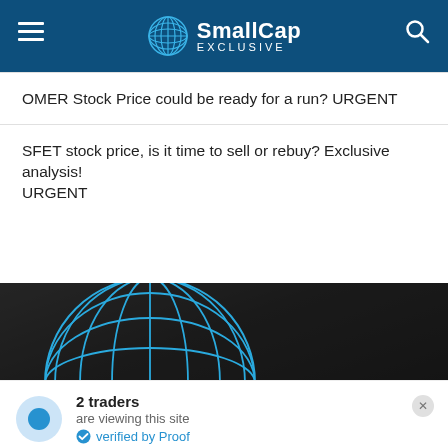SmallCap EXCLUSIVE
OMER Stock Price could be ready for a run? URGENT
SFET stock price, is it time to sell or rebuy? Exclusive analysis! URGENT
[Figure (logo): SmallCap Exclusive globe logo on dark background]
2 traders are viewing this site verified by Proof